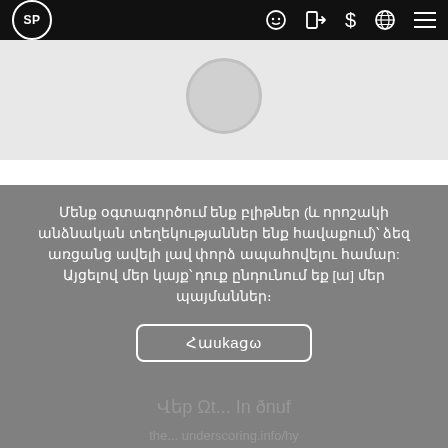SP [logo] navigation bar with icons
[Figure (screenshot): Light grey content area with a circular profile placeholder image at top center]
Մենք օգտագործում ենք բլիթներ (և որոշակի անձնական տեղեկությաններ ենք հավաքում)՝ ձեզ առցանց ավելի լավ փորձ ապահովելու համար: Այցելով մեր կայք՝ դուք ընդունում եք [ա] մեր պայմաններ։
Հաυkagω
Վեp Ωt... In ðnuf (ghost text below button)